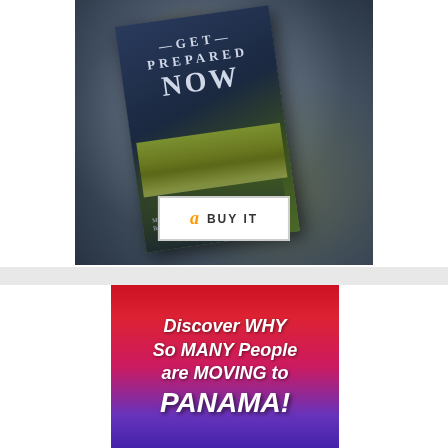[Figure (photo): Advertisement for 'Get Prepared Now' book showing book cover on a dramatic stormy background with a 'Buy It' button featuring the Amazon logo]
[Figure (infographic): Advertisement banner with red-to-purple gradient background reading 'Discover WHY So MANY People are MOVING to PANAMA!' in white bold italic text]